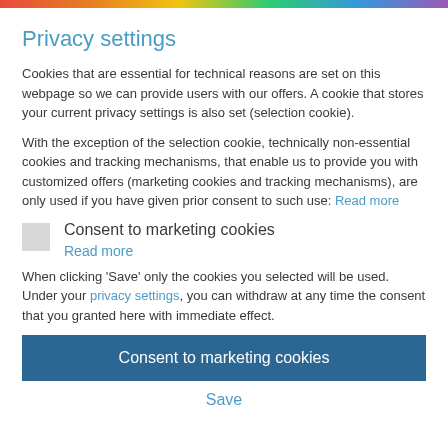Privacy settings
Cookies that are essential for technical reasons are set on this webpage so we can provide users with our offers. A cookie that stores your current privacy settings is also set (selection cookie).
With the exception of the selection cookie, technically non-essential cookies and tracking mechanisms, that enable us to provide you with customized offers (marketing cookies and tracking mechanisms), are only used if you have given prior consent to such use: Read more
Consent to marketing cookies
Read more
When clicking 'Save' only the cookies you selected will be used. Under your privacy settings, you can withdraw at any time the consent that you granted here with immediate effect.
Consent to marketing cookies
Save